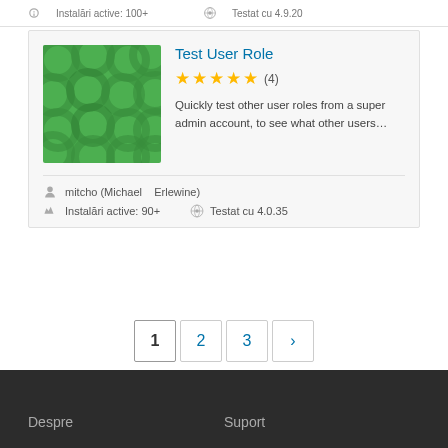Instalări active: 100+ | Testat cu 4.9.20
Test User Role
★★★★★ (4)
Quickly test other user roles from a super admin account, to see what other users…
mitcho (Michael Erlewine)
Instalări active: 90+
Testat cu 4.0.35
1
2
3
›
Despre
Suport